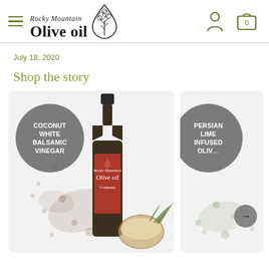Rocky Mountain Olive oil — navigation header
July 18, 2020
Shop the story
[Figure (photo): Product card showing a bottle of Coconut White Balsamic Vinegar with a coconut illustration and brown splatter design, labeled with a grey circle]
[Figure (photo): Partially visible product card for Persian Lime Infused Olive Oil with green splatter design and a grey circle label, with a right-arrow navigation button]